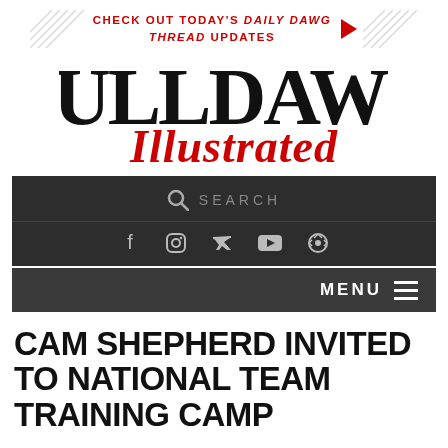CHECK OUT TODAY'S DAILY DAWG THREAD UPDATES
[Figure (logo): Bulldawg Illustrated logo with serif black BULLDAWG text and red italic script Illustrated text]
[Figure (screenshot): Dark navigation bar with search icon, SEARCH text, and social media icons: Facebook, Instagram, Twitter, YouTube, Podcast]
[Figure (screenshot): Dark gray MENU bar with hamburger menu icon on the right]
CAM SHEPHERD INVITED TO NATIONAL TEAM TRAINING CAMP